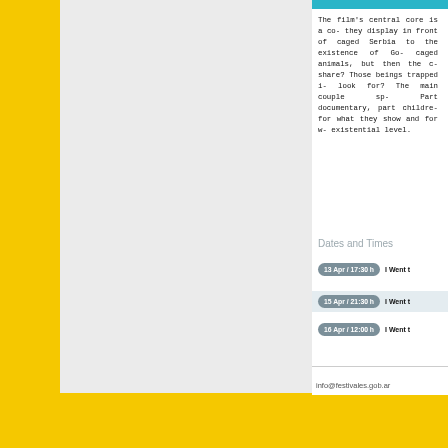The film's central core is a co- they display in front of caged Serbia to the existence of Go- caged animals, but then the c- share? Those beings trapped i- look for? The main couple sp- Part documentary, part childre- for what they show and for w- existential level.
Dates and Times
13 Apr / 17:30 h   I Went t
15 Apr / 21:30 h   I Went t
16 Apr / 12:00 h   I Went t
info@festivales.gob.ar